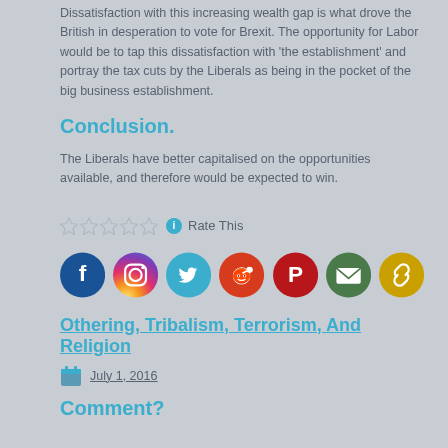Dissatisfaction with this increasing wealth gap is what drove the British in desperation to vote for Brexit.  The opportunity for Labor would be to tap this dissatisfaction with 'the establishment' and portray the tax cuts by the Liberals as being in the pocket of the big business establishment.
Conclusion.
The Liberals have better capitalised on the opportunities available, and therefore would be expected to win.
[Figure (infographic): Five empty star rating icons followed by an info icon and 'Rate This' text]
[Figure (infographic): Row of social media share icons: Facebook, Instagram, Twitter, Reddit, Pinterest, Email, Copy Link]
Othering, Tribalism, Terrorism, And Religion
July 1, 2016
Comment?